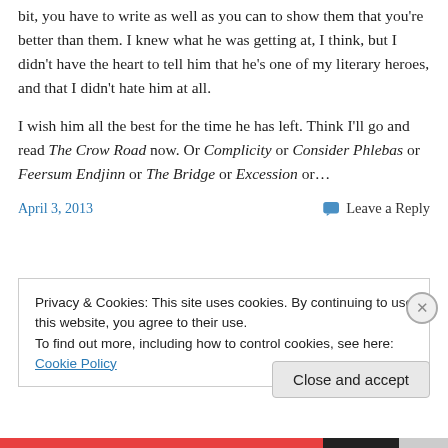bit, you have to write as well as you can to show them that you're better than them. I knew what he was getting at, I think, but I didn't have the heart to tell him that he's one of my literary heroes, and that I didn't hate him at all.
I wish him all the best for the time he has left. Think I'll go and read The Crow Road now. Or Complicity or Consider Phlebas or Feersum Endjinn or The Bridge or Excession or…
April 3, 2013    💬 Leave a Reply
Privacy & Cookies: This site uses cookies. By continuing to use this website, you agree to their use.
To find out more, including how to control cookies, see here: Cookie Policy